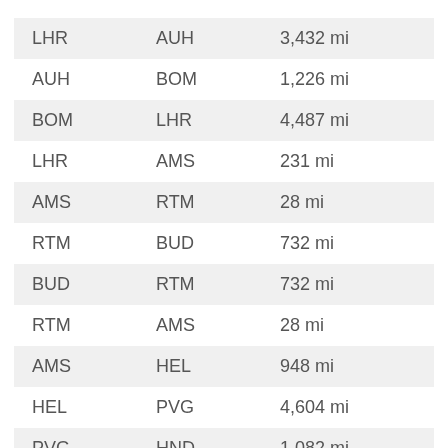| LHR | AUH | 3,432 mi |
| AUH | BOM | 1,226 mi |
| BOM | LHR | 4,487 mi |
| LHR | AMS | 231 mi |
| AMS | RTM | 28 mi |
| RTM | BUD | 732 mi |
| BUD | RTM | 732 mi |
| RTM | AMS | 28 mi |
| AMS | HEL | 948 mi |
| HEL | PVG | 4,604 mi |
| PVG | HND | 1,082 mi |